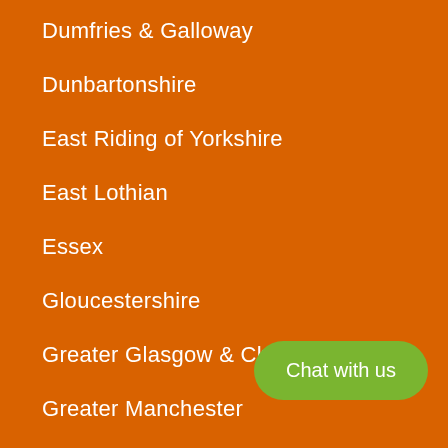Dumfries & Galloway
Dunbartonshire
East Riding of Yorkshire
East Lothian
Essex
Gloucestershire
Greater Glasgow & Clyde
Greater Manchester
Herefordshire
Chat with us